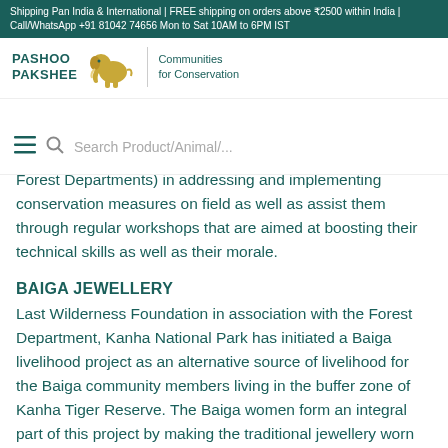Shipping Pan India & International | FREE shipping on orders above ₹2500 within India | Call/WhatsApp +91 81042 74656 Mon to Sat 10AM to 6PM IST
[Figure (logo): Pashoo Pakshee logo with elephant illustration, 'Communities for Conservation' tagline, INR (₹) currency selector, and navigation bar with hamburger menu, search bar, and cart icon showing 0 items]
Forest Departments) in addressing and implementing conservation measures on field as well as assist them through regular workshops that are aimed at boosting their technical skills as well as their morale.
BAIGA JEWELLERY
Last Wilderness Foundation in association with the Forest Department, Kanha National Park has initiated a Baiga livelihood project as an alternative source of livelihood for the Baiga community members living in the buffer zone of Kanha Tiger Reserve. The Baiga women form an integral part of this project by making the traditional jewellery worn by the members as part of their culture, and this initiative aims to not only reduce the dependency of the community members on